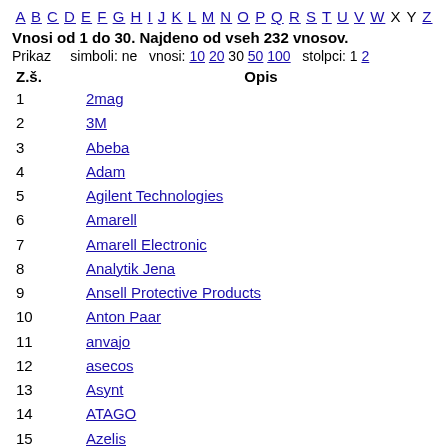A B C D E F G H I J K L M N O P Q R S T U V W X Y Z
Vnosi od 1 do 30. Najdeno od vseh 232 vnosov.
Prikaz    simboli: ne   vnosi: 10 20 30 50 100   stolpci: 1 2
| Z.š. | Opis |
| --- | --- |
| 1 | 2mag |
| 2 | 3M |
| 3 | Abeba |
| 4 | Adam |
| 5 | Agilent Technologies |
| 6 | Amarell |
| 7 | Amarell Electronic |
| 8 | Analytik Jena |
| 9 | Ansell Protective Products |
| 10 | Anton Paar |
| 11 | anvajo |
| 12 | asecos |
| 13 | Asynt |
| 14 | ATAGO |
| 15 | Azelis |